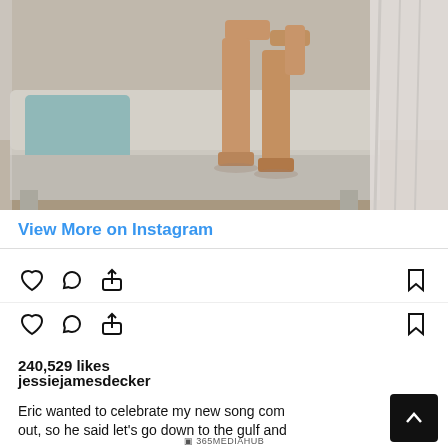[Figure (screenshot): Instagram post screenshot showing lower legs and feet of a person standing near a couch with a light blue pillow, with a curtain visible on the right side]
View More on Instagram
[Figure (screenshot): Instagram action icons row 1: heart (like), comment bubble, share (upload arrow), bookmark]
[Figure (screenshot): Instagram action icons row 2: heart (like), comment bubble, share (upload arrow), bookmark]
240,529 likes
jessiejamesdecker
Eric wanted to celebrate my new song coming out, so he said let's go down to the gulf and